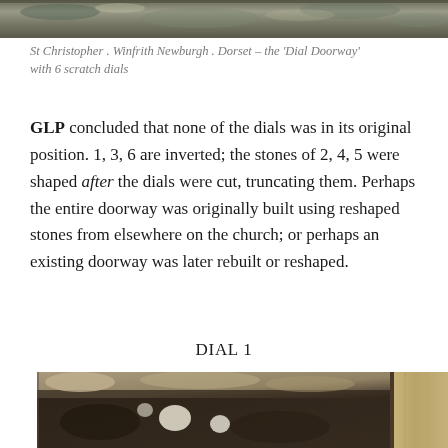[Figure (photo): Partial view of stone wall with lichen and moss at St Christopher, Winfrith Newburgh, Dorset – the Dial Doorway]
St Christopher . Winfrith Newburgh . Dorset – the 'Dial Doorway' with 6 scratch dials
GLP concluded that none of the dials was in its original position. 1, 3, 6 are inverted; the stones of 2, 4, 5 were shaped after the dials were cut, truncating them. Perhaps the entire doorway was originally built using reshaped stones from elsewhere on the church; or perhaps an existing doorway was later rebuilt or reshaped.
DIAL 1
[Figure (photo): Close-up photograph of a dark stone surface with lichen patches and sandy deposits, showing part of the dial doorway stone at St Christopher, Winfrith Newburgh]